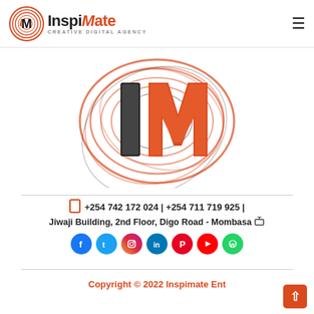[Figure (logo): InspiMate Creative Digital Agency logo with orange circle fingerprint/swirl design and IM lettering]
[Figure (logo): Large 3D InspiMate IM logo mark with orange swirl/fingerprint design on white background]
📱 +254 742 172 024 | +254 711 719 925 |
Jiwaji Building, 2nd Floor, Digo Road - Mombasa 🏠
[Figure (infographic): Row of social media icons: Facebook, Twitter, Instagram, LinkedIn, Pinterest, YouTube, WhatsApp]
Copyright © 2022 Inspimate Ent